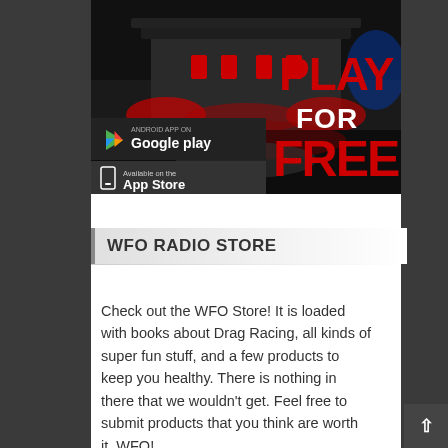[Figure (screenshot): Mobile game advertisement banner showing a drag racing car from behind with red/blue lighting effects, Google Play and App Store download buttons on the left, and 'PLAY FOR FREE' text in large red and white letters on the right.]
WFO RADIO STORE
Check out the WFO Store! It is loaded with books about Drag Racing, all kinds of super fun stuff, and a few products to keep you healthy. There is nothing in there that we wouldn't get. Feel free to submit products that you think are worth it. WFO!